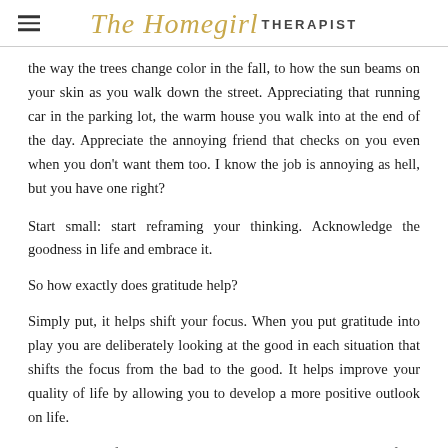The Homegirl THERAPIST
the way the trees change color in the fall, to how the sun beams on your skin as you walk down the street. Appreciating that running car in the parking lot, the warm house you walk into at the end of the day. Appreciate the annoying friend that checks on you even when you don't want them too. I know the job is annoying as hell, but you have one right?
Start small: start reframing your thinking. Acknowledge the goodness in life and embrace it.
So how exactly does gratitude help?
Simply put, it helps shift your focus. When you put gratitude into play you are deliberately looking at the good in each situation that shifts the focus from the bad to the good. It helps improve your quality of life by allowing you to develop a more positive outlook on life.
When you are focused on the positive you eliminate any room for